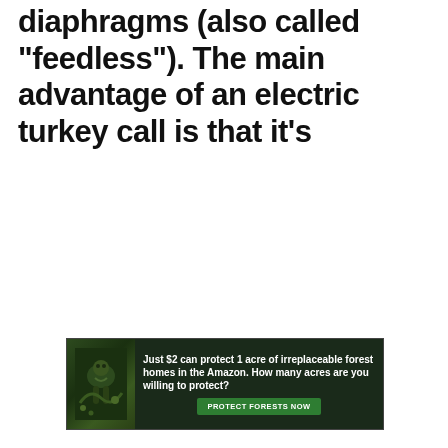diaphragms (also called 'feedless'). The main advantage of an electric turkey call is that it's
[Figure (photo): Advertisement banner for Amazon forest protection. Dark green background with an image of a sloth or similar animal in foliage on the left. Text reads: 'Just $2 can protect 1 acre of irreplaceable forest homes in the Amazon. How many acres are you willing to protect?' with a green 'PROTECT FORESTS NOW' button.]